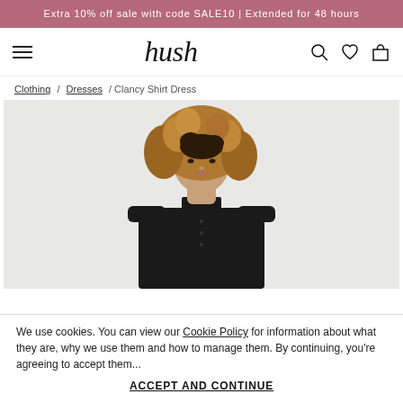Extra 10% off sale with code SALE10 | Extended for 48 hours
[Figure (logo): Hush brand navigation bar with hamburger menu, hush italic serif logo, search icon, heart icon, and bag icon]
Clothing / Dresses / Clancy Shirt Dress
[Figure (photo): Woman with curly blonde-brown hair wearing a black button-up shirt dress against a light grey background, shown from waist up]
We use cookies. You can view our Cookie Policy for information about what they are, why we use them and how to manage them. By continuing, you're agreeing to accept them...
ACCEPT AND CONTINUE